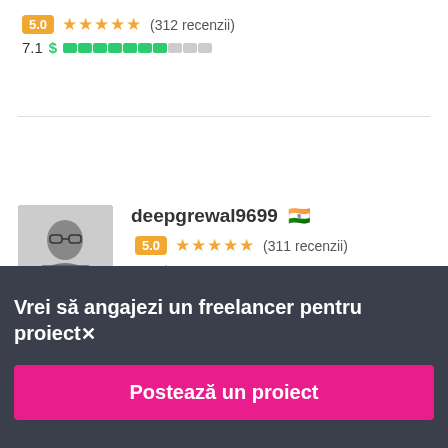[Figure (other): First freelancer card showing rating 5.0 with 5 stars (312 recenzii) and price indicator 7.1]
[Figure (other): Second freelancer profile: deepgrewal9699 with Indian flag, rating 5.0 with 5 stars (311 recenzii), price 7.0]
Vrei să angajezi un freelancer pentru proiect✕
Postează un proiect